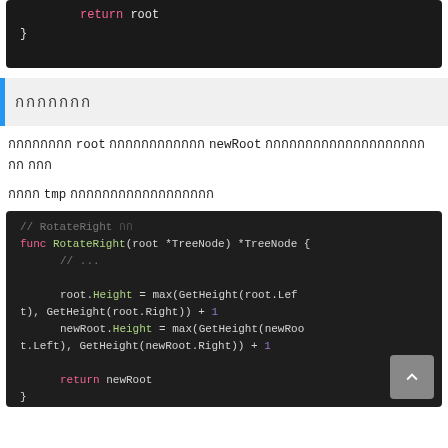[Figure (screenshot): Code block showing 'return root' and closing brace in dark theme editor]
กกกกกกก
กกกกกกกก root กกกกกกกกกกกก newRoot กกกกกกกกกกกกกกกกกกกกกก กกก
กกกก tmp กกกกกกกกกกกกกกกกกก
[Figure (screenshot): Code block showing RotateRight function implementation with height calculations]